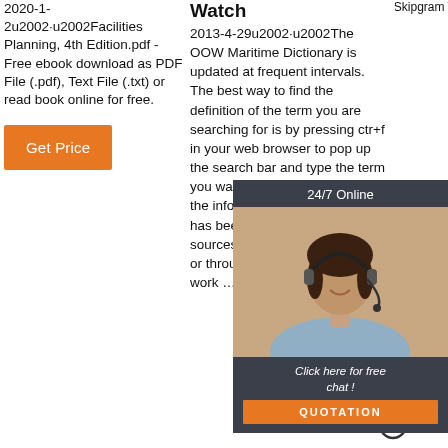2020-1-2u2002·u2002Facilities Planning, 4th Edition.pdf - Free ebook download as PDF File (.pdf), Text File (.txt) or read book online for free.
Get Price
Watch
2013-4-29u2002·u2002The OOW Maritime Dictionary is updated at frequent intervals. The best way to find the definition of the term you are searching for is by pressing ctr+f in your web browser to pop up the search bar and type the term you want to find. The majority of the information presented below has been compiled from various sources either from the internet or through personal day to day work …
25u2002·u2002C0NELL1 Skipgram Terms - Free ebook download as Text File (.txt), PDF File (.pdf) or read book online for free.
Get P...
[Figure (photo): Customer service representative woman with headset, chat widget with 24/7 Online label, Click here for free chat! text, and QUOTATION orange button]
[Figure (illustration): TOP arrow icon - orange dotted arc above text TOP with upward arrow circle]